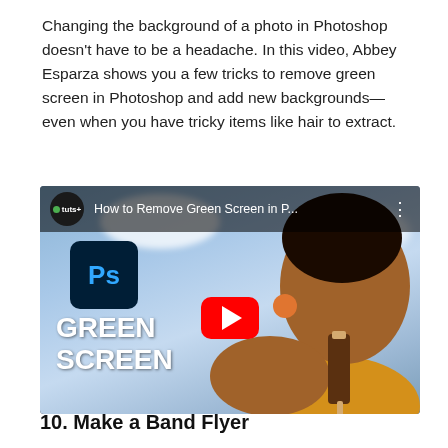Changing the background of a photo in Photoshop doesn't have to be a headache. In this video, Abbey Esparza shows you a few tricks to remove green screen in Photoshop and add new backgrounds—even when you have tricky items like hair to extract.
[Figure (screenshot): YouTube video thumbnail for 'How to Remove Green Screen in P...' by tuts+. Shows a woman with curly hair against a sky background, holding a chocolate ice cream bar, wearing a yellow top and orange earring. A Photoshop icon and 'GREEN SCREEN' text overlay are visible, along with a YouTube play button.]
10. Make a Band Flyer